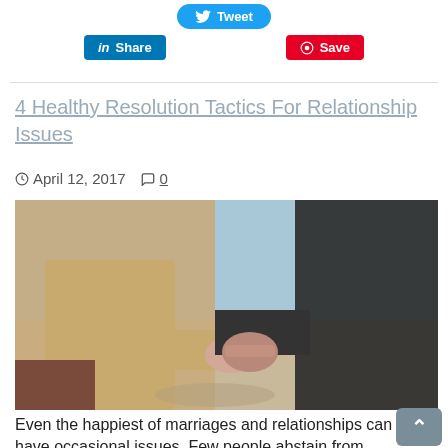[Figure (infographic): Social media sharing buttons: Tweet (blue), Share on LinkedIn (blue), Save on Pinterest (red)]
4 Healthy Resolution Tactics For Relationship Issues
April 12, 2017   0
[Figure (photo): Two people holding hands at a beach, one wearing a beige coat and one wearing a dark jacket]
Even the happiest of marriages and relationships can have occasional issues. Few people abstain from